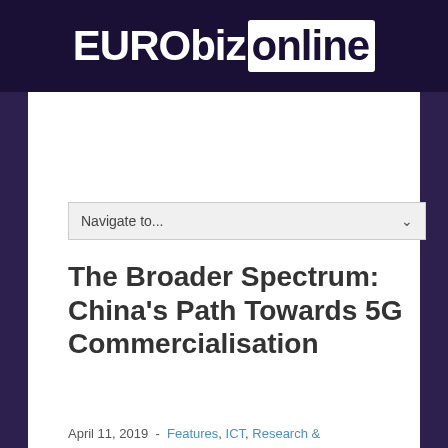EURObiz online
Navigate to...
The Broader Spectrum: China's Path Towards 5G Commercialisation
April 11, 2019  -  Features, ICT, Research & Development  -  Tagged: 5G, industry development, Internet of Things, network infrastructure, new media  -  no comments
[Figure (photo): Person holding a smartphone near a laptop, warm orange/sunlit tone]